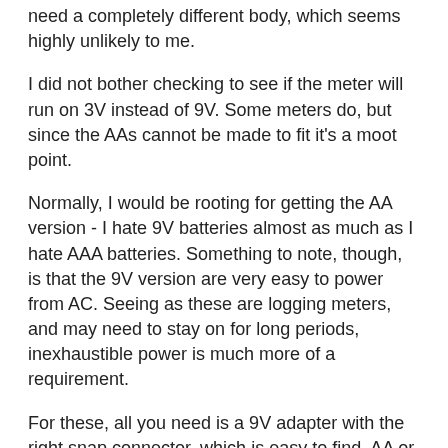need a completely different body, which seems highly unlikely to me.
I did not bother checking to see if the meter will run on 3V instead of 9V.  Some meters do, but since the AAs cannot be made to fit it's a moot point.
Normally, I would be rooting for getting the AA version - I hate 9V batteries almost as much as I hate AAA batteries.  Something to note, though, is that the 9V version are very easy to power from AC.  Seeing as these are logging meters, and may need to stay on for long periods, inexhaustible power is much more of a requirement.
For these, all you need is a 9V adapter with the right snap connector, which is easy to find.  AA or AAA meters need you to either make fake batteries or to jam wires directly in to the battery tabs - workable, but more hackish, and harder to set up.  So I'll happily take the 9V versions for the ease of mains adaptability.
The 8226s I got have some slight imperfections in the front